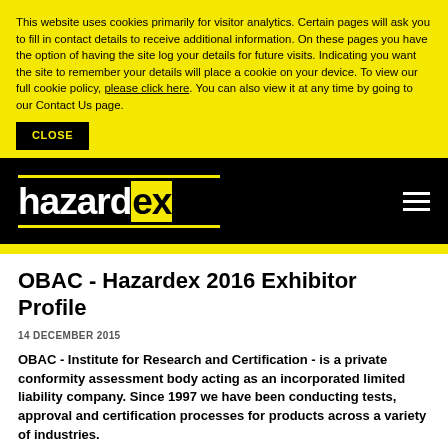This website uses cookies primarily for visitor analytics. Certain pages will ask you to fill in contact details to receive additional information. On these pages you have the option of having the site log your details for future visits. Indicating you want the site to remember your details will place a cookie on your device. To view our full cookie policy, please click here. You can also view it at any time by going to our Contact Us page.
CLOSE
[Figure (logo): Hazardex logo in white on black background with yellow horizontal lines above and below the text]
OBAC - Hazardex 2016 Exhibitor Profile
14 DECEMBER 2015
OBAC - Institute for Research and Certification - is a private conformity assessment body acting as an incorporated limited liability company. Since 1997 we have been conducting tests, approval and certification processes for products across a variety of industries.